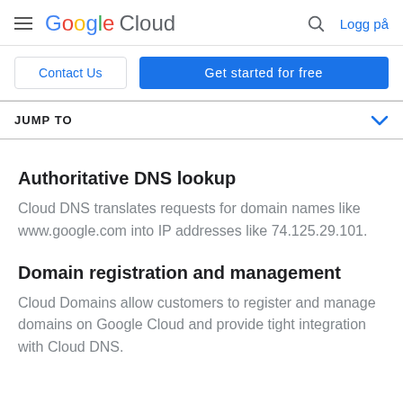Google Cloud — Logg på
[Figure (logo): Google Cloud logo with hamburger menu icon on the left, search icon and Logg på link on the right]
Contact Us | Get started for free
JUMP TO
Authoritative DNS lookup
Cloud DNS translates requests for domain names like www.google.com into IP addresses like 74.125.29.101.
Domain registration and management
Cloud Domains allow customers to register and manage domains on Google Cloud and provide tight integration with Cloud DNS.